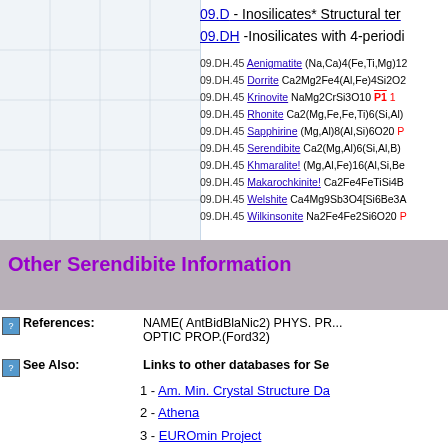09.D - Inosilicates* Structural ter...
09.DH -Inosilicates with 4-periodi...
09.DH.45 Aenigmatite (Na,Ca)4(Fe,Ti,Mg)12...
09.DH.45 Dorrite Ca2Mg2Fe4(Al,Fe)4Si2O2...
09.DH.45 Krinovite NaMg2CrSi3O10 P1 1
09.DH.45 Rhonite Ca2(Mg,Fe,Fe,Ti)6(Si,Al)...
09.DH.45 Sapphirine (Mg,Al)8(Al,Si)6O20 P...
09.DH.45 Serendibite Ca2(Mg,Al)6(Si,Al,B)...
09.DH.45 Khmaralite! (Mg,Al,Fe)16(Al,Si,Be...
09.DH.45 Makarochkinite! Ca2Fe4FeTiSi4B...
09.DH.45 Welshite Ca4Mg9Sb3O4[Si6Be3A...
09.DH.45 Wilkinsonite Na2Fe4Fe2Si6O20 P...
Other Serendibite Information
References: NAME( AntBidBlaNic2) PHYS. PR... OPTIC PROP.(Ford32)
See Also: Links to other databases for Se...
1 - Am. Min. Crystal Structure Da...
2 - Athena
3 - EUROmin Project
4 - Ecole des Mines de Paris
5 - GeoScienceWorld
6 - Google Images